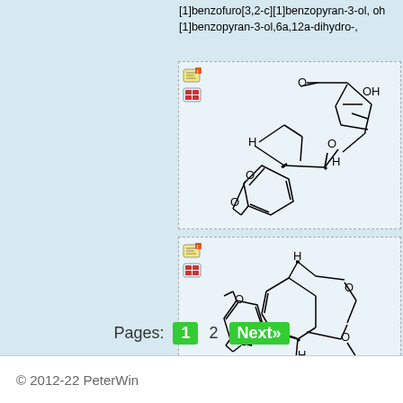[1]benzofuro[3,2-c][1]benzopyran-3-ol, [1]benzopyran-3-ol,6a,12a-dihydro-,
[Figure (schematic): Chemical structure diagram of a benzofurochromene compound with OH group, showing fused ring system with O atoms and H stereocenters (first molecule)]
[Figure (schematic): Chemical structure diagram of a second benzofurochromene isomer with OH group, showing fused ring system with O atoms and H stereocenters (second molecule)]
Pages: 1 2 Next»
© 2012-22 PeterWin